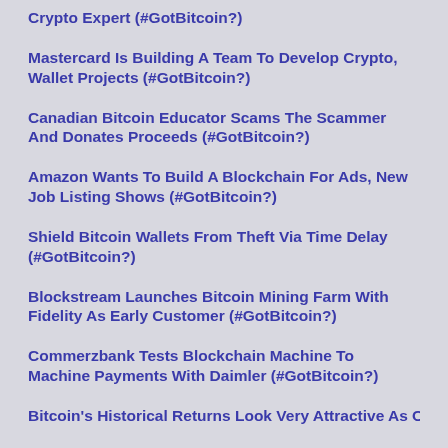Crypto Expert (#GotBitcoin?)
Mastercard Is Building A Team To Develop Crypto, Wallet Projects (#GotBitcoin?)
Canadian Bitcoin Educator Scams The Scammer And Donates Proceeds (#GotBitcoin?)
Amazon Wants To Build A Blockchain For Ads, New Job Listing Shows (#GotBitcoin?)
Shield Bitcoin Wallets From Theft Via Time Delay (#GotBitcoin?)
Blockstream Launches Bitcoin Mining Farm With Fidelity As Early Customer (#GotBitcoin?)
Commerzbank Tests Blockchain Machine To Machine Payments With Daimler (#GotBitcoin?)
Bitcoin's Historical Returns Look Very Attractive As Online…